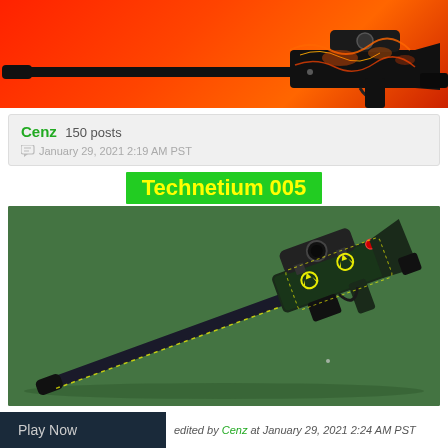[Figure (illustration): Sniper rifle (AWP-like) with orange/red fire skin on a red/orange gradient background]
Cenz 150 posts
January 29, 2021 2:19 AM PST
Technetium 005
[Figure (illustration): Sniper rifle (AWP-like) with dark green and yellow nuclear hazard symbol skin on a dark green background]
edited by Cenz at January 29, 2021 2:24 AM PST